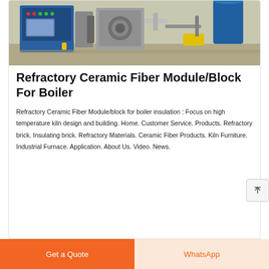[Figure (photo): Industrial boiler or combustion equipment in blue and grey metal casing with control panel and pipes, photographed in a factory or industrial setting]
Refractory Ceramic Fiber Module/Block For Boiler
Refractory Ceramic Fiber Module/block for boiler insulation : Focus on high temperature kiln design and building. Home. Customer Service. Products. Refractory brick. Insulating brick. Refractory Materials. Ceramic Fiber Products. Kiln Furniture. Industrial Furnace. Application. About Us. Video. News.
Get a Quote
WhatsApp